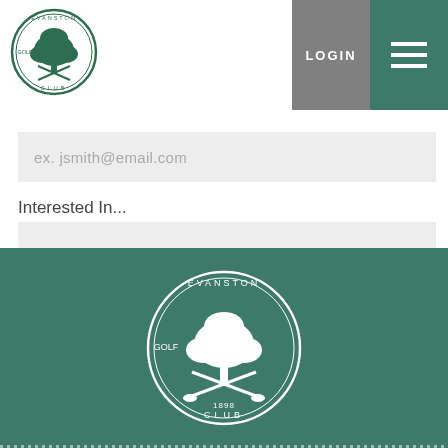[Figure (logo): Evanston Golf Club circular logo with tree and crossed golf clubs, 1898]
LOGIN
ex. jsmith@email.com
Interested In...
Select One
SUBMIT
[Figure (logo): Evanston Golf Club white circular logo on green background with tree and crossed golf clubs, 1898]